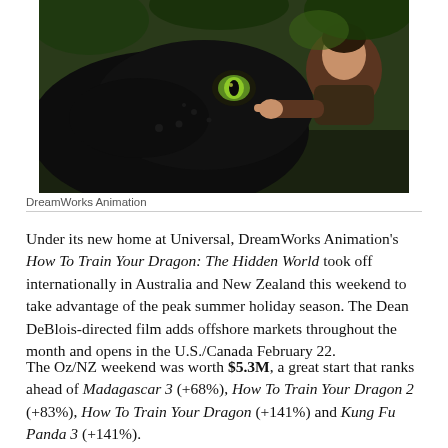[Figure (photo): Animated scene from How To Train Your Dragon: The Hidden World showing a boy embracing a black dragon's head in a jungle setting]
DreamWorks Animation
Under its new home at Universal, DreamWorks Animation's How To Train Your Dragon: The Hidden World took off internationally in Australia and New Zealand this weekend to take advantage of the peak summer holiday season. The Dean DeBlois-directed film adds offshore markets throughout the month and opens in the U.S./Canada February 22.
The Oz/NZ weekend was worth $5.3M, a great start that ranks ahead of Madagascar 3 (+68%), How To Train Your Dragon 2 (+83%), How To Train Your Dragon (+141%) and Kung Fu Panda 3 (+141%).